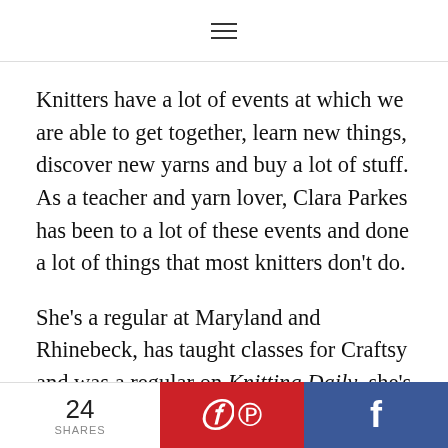≡
Knitters have a lot of events at which we are able to get together, learn new things, discover new yarns and buy a lot of stuff. As a teacher and yarn lover, Clara Parkes has been to a lot of these events and done a lot of things that most knitters don't do.
She's a regular at Maryland and Rhinebeck, has taught classes for Craftsy and was a regular on Knitting Daily, she's written books and led retreats
24 SHARES